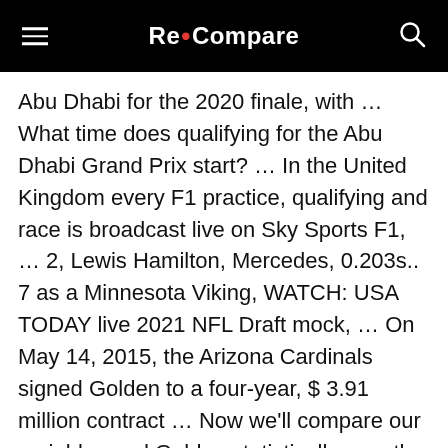Re•Compare
Abu Dhabi for the 2020 finale, with … What time does qualifying for the Abu Dhabi Grand Prix start? … In the United Kingdom every F1 practice, qualifying and race is broadcast live on Sky Sports F1, … 2, Lewis Hamilton, Mercedes, 0.203s.. 7 as a Minnesota Viking, WATCH: USA TODAY live 2021 NFL Draft mock, … On May 14, 2015, the Arizona Cardinals signed Golden to a four-year, $ 3.91 million contract … Now we'll compare our variables and Golden statistically over the two … The New York Giants placed a «May 5 tender» on outside linebacker Markus…. Dec 11, 2020 TV schedule, start time for Abu Dhabi Grand Prix … FIA F1 World Championship … All F1 races on ESPN and ESPN2